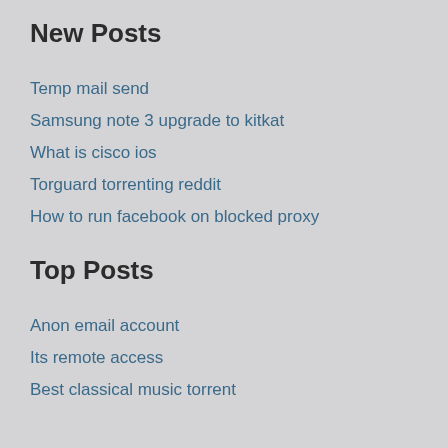New Posts
Temp mail send
Samsung note 3 upgrade to kitkat
What is cisco ios
Torguard torrenting reddit
How to run facebook on blocked proxy
Top Posts
Anon email account
Its remote access
Best classical music torrent